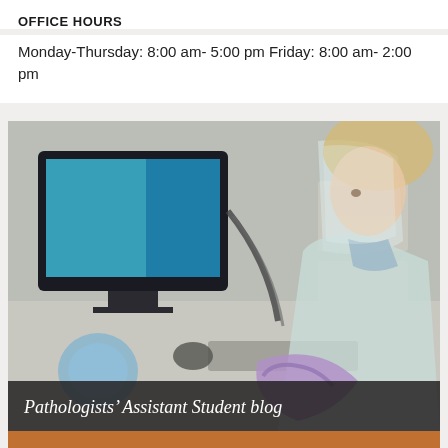OFFICE HOURS
Monday-Thursday: 8:00 am- 5:00 pm Friday: 8:00 am- 2:00 pm
[Figure (photo): A laboratory professional wearing a face shield and blue protective gown working at a lab bench with a computer monitor, pipettes, and lab equipment. Wearing purple gloves handling specimens.]
Pathologists' Assistant Student blog